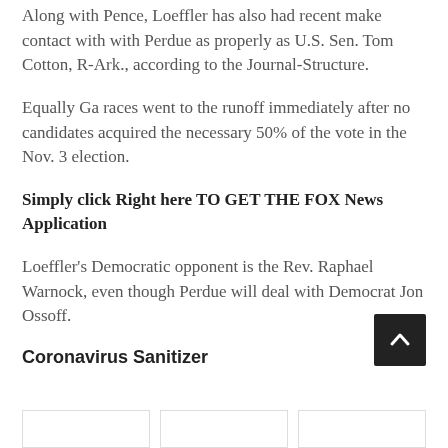Along with Pence, Loeffler has also had recent make contact with with Perdue as properly as U.S. Sen. Tom Cotton, R-Ark., according to the Journal-Structure.
Equally Ga races went to the runoff immediately after no candidates acquired the necessary 50% of the vote in the Nov. 3 election.
Simply click Right here TO GET THE FOX News Application
Loeffler's Democratic opponent is the Rev. Raphael Warnock, even though Perdue will deal with Democrat Jon Ossoff.
Coronavirus Sanitizer